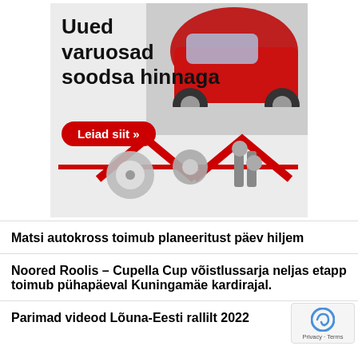[Figure (illustration): Advertisement banner: 'Uued varuosad soodsa hinnaga' (New spare parts at a good price) with a red car, auto parts, and a red button 'Leiad siit »']
Matsi autokross toimub planeeritust päev hiljem
Noored Roolis – Cupella Cup võistlussarja neljas etapp toimub pühapäeval Kuningamäe kardirajal.
Parimad videod Lõuna-Eesti rallilt 2022